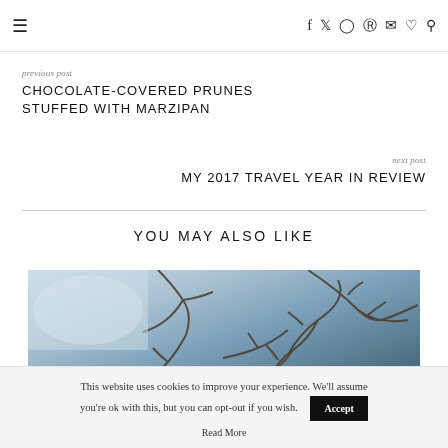≡  f  🐦  📷  Pinterest  ✉  ♡  🔍
previous post
CHOCOLATE-COVERED PRUNES STUFFED WITH MARZIPAN
next post
MY 2017 TRAVEL YEAR IN REVIEW
YOU MAY ALSO LIKE
[Figure (photo): Outdoor photo showing bare tree branches against a light sky, with a person wearing a hat visible at the bottom.]
This website uses cookies to improve your experience. We'll assume you're ok with this, but you can opt-out if you wish.
Accept
Read More